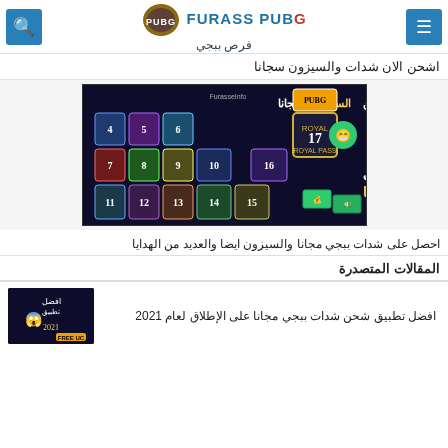FURASS PUBG فرص ببجي
اشحن الان شدات والسيزون سجانا
[Figure (screenshot): PUBG MOBILE season pass badges promotional image with Arabic text 'اشحن السيزون مجانا' and 'شدات مجانا', showing various royal pass badges numbered 4-17]
احصل على شدات ببجي مجانا والسيزون ايضا والعديد من الهدايا
المقالات المتصدرة
افضل تطبيق شحن شدات ببجي مجانا على الإطلاق لعام 2021
[Figure (screenshot): Article thumbnail for best PUBG UC recharge app 2021, dark background with emoji and Arabic text]